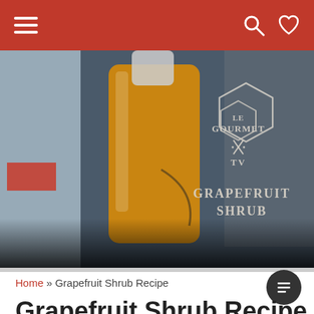Navigation bar with hamburger menu, search icon, and heart/favorites icon
[Figure (screenshot): Video thumbnail showing a bottle filled with orange grapefruit shrub liquid, with 'Le Gourmet TV' logo hexagon overlay and 'Grapefruit Shrub' text overlay, video controls at bottom showing 0:00 timestamp]
Home » Grapefruit Shrub Recipe
Grapefruit Shrub Recipe